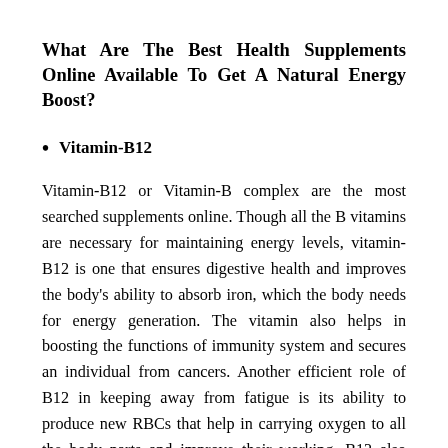What Are The Best Health Supplements Online Available To Get A Natural Energy Boost?
Vitamin-B12
Vitamin-B12 or Vitamin-B complex are the most searched supplements online. Though all the B vitamins are necessary for maintaining energy levels, vitamin-B12 is one that ensures digestive health and improves the body's ability to absorb iron, which the body needs for energy generation. The vitamin also helps in boosting the functions of immunity system and secures an individual from cancers. Another efficient role of B12 in keeping away from fatigue is its ability to produce new RBCs that help in carrying oxygen to all the body parts and improve their working. B12 also ensures proper brain development and maintains healthy cognitive